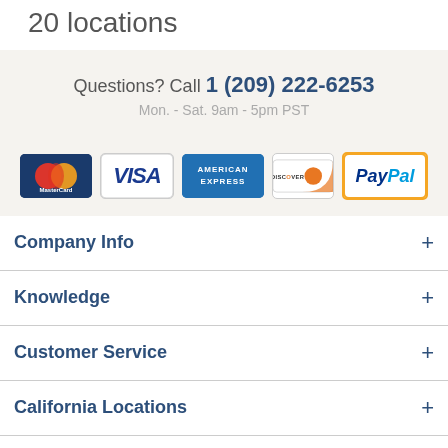20 locations
Questions? Call 1 (209) 222-6253
Mon. - Sat. 9am - 5pm PST
[Figure (logo): Payment method logos: MasterCard, VISA, American Express, Discover, PayPal]
Company Info +
Knowledge +
Customer Service +
California Locations +
California Locations